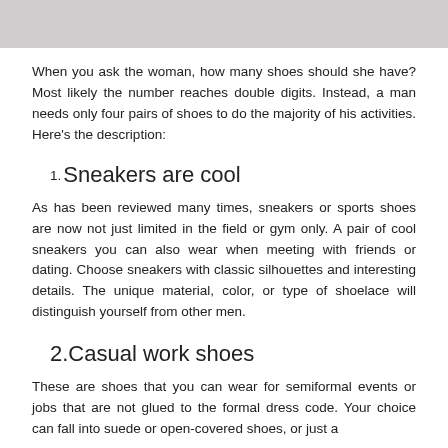[Figure (photo): Gray rectangular image placeholder at top of page]
When you ask the woman, how many shoes should she have? Most likely the number reaches double digits. Instead, a man needs only four pairs of shoes to do the majority of his activities. Here's the description:
1. Sneakers are cool
As has been reviewed many times, sneakers or sports shoes are now not just limited in the field or gym only. A pair of cool sneakers you can also wear when meeting with friends or dating. Choose sneakers with classic silhouettes and interesting details. The unique material, color, or type of shoelace will distinguish yourself from other men.
2. Casual work shoes
These are shoes that you can wear for semiformal events or jobs that are not glued to the formal dress code. Your choice can fall into suede or open-covered shoes, or just a